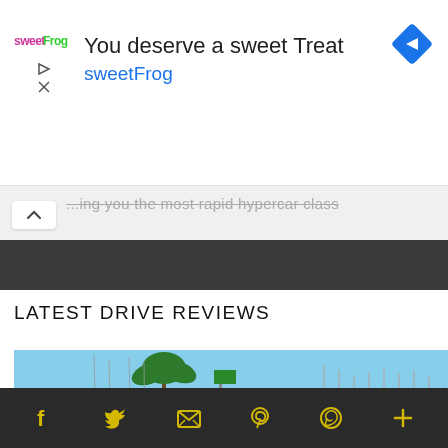[Figure (screenshot): Advertisement banner for sweetFrog frozen yogurt. Shows sweetFrog logo on left, text 'You deserve a sweet Treat' and 'sweetFrog' in blue, navigation diamond icon on right. Play and close icons on far left.]
...ing you the most rapid hypercar class
LATEST DRIVE REVIEWS
[Figure (photo): Photo of a red sports car (Toyota GR86 or similar) parked near a marina with palm trees and sailboats in background, under clear blue sky.]
Social share icons: Facebook, Twitter, Email, Pinterest, WhatsApp, More